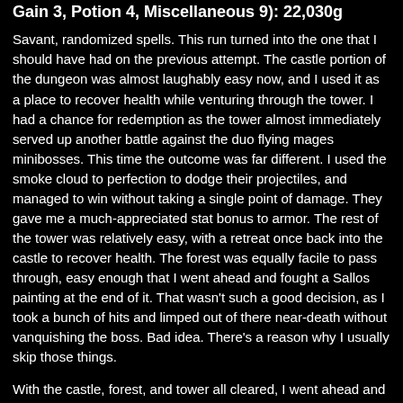Gain 3, Potion 4, Miscellaneous 9): 22,030g
Savant, randomized spells. This run turned into the one that I should have had on the previous attempt. The castle portion of the dungeon was almost laughably easy now, and I used it as a place to recover health while venturing through the tower. I had a chance for redemption as the tower almost immediately served up another battle against the duo flying mages minibosses. This time the outcome was far different. I used the smoke cloud to perfection to dodge their projectiles, and managed to win without taking a single point of damage. They gave me a much-appreciated stat bonus to armor. The rest of the tower was relatively easy, with a retreat once back into the castle to recover health. The forest was equally facile to pass through, easy enough that I went ahead and fought a Sallos painting at the end of it. That wasn't such a good decision, as I took a bunch of hits and limped out of there near-death without vanquishing the boss. Bad idea. There's a reason why I usually skip those things.
With the castle, forest, and tower all cleared, I went ahead and fought Khidr. This was also a bit of a joke fight, as I was able to dodge more potential hits through use of the Assassin smoke cloud. With some practice, you can slip into mist form for about one second, just enough time to avoid taking any damage, and then phase right back into normal mode again. This seems to use roughly 15 mana if done quickly, which means that you can use it